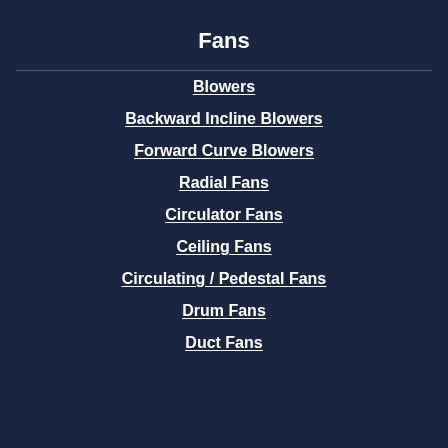Fans
Blowers
Backward Incline Blowers
Forward Curve Blowers
Radial Fans
Circulator Fans
Ceiling Fans
Circulating / Pedestal Fans
Drum Fans
Duct Fans